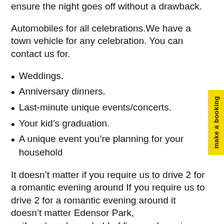ensure the night goes off without a drawback.
Automobiles for all celebrations. We have a town vehicle for any celebration. You can contact us for.
Weddings.
Anniversary dinners.
Last-minute unique events/concerts.
Your kid’s graduation.
A unique event you’re planning for your household
It doesn’t matter if you require us to drive 2 for a romantic evening around If you require us to drive 2 for a romantic evening around it doesn’t matter Edensor Park,
or if you’re a household of five, and require a professionally kept, elegant